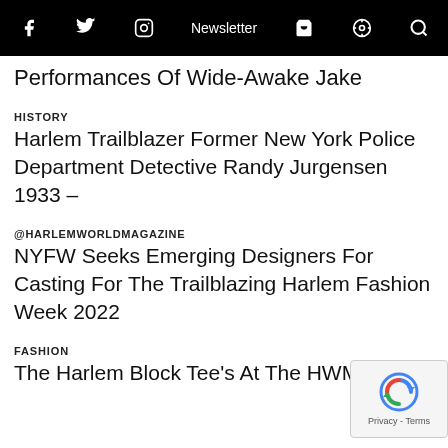f  Twitter  Instagram  Newsletter  Cart  Podcast  Search
Performances Of Wide-Awake Jake
HISTORY
Harlem Trailblazer Former New York Police Department Detective Randy Jurgensen 1933 –
@HARLEMWORLDMAGAZINE
NYFW Seeks Emerging Designers For Casting For The Trailblazing Harlem Fashion Week 2022
FASHION
The Harlem Block Tee's At The HWM Shop